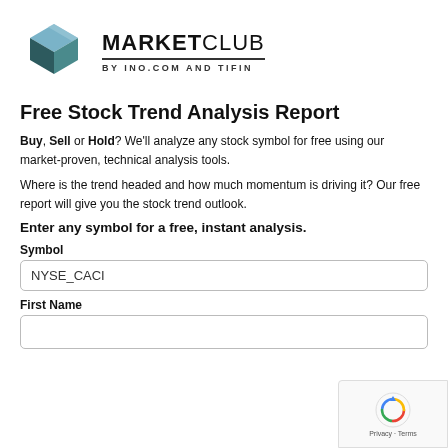[Figure (logo): MarketClub logo: geometric box shape in teal/blue with diamond facets, next to bold text MARKETCLUB by INO.COM AND TIFIN]
Free Stock Trend Analysis Report
Buy, Sell or Hold? We'll analyze any stock symbol for free using our market-proven, technical analysis tools.
Where is the trend headed and how much momentum is driving it? Our free report will give you the stock trend outlook.
Enter any symbol for a free, instant analysis.
Symbol
NYSE_CACI
First Name